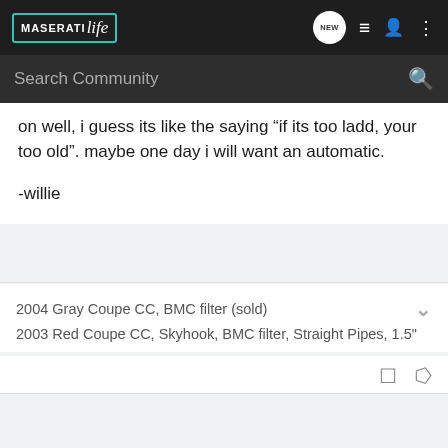MaseratiLife — navigation bar with logo, NEW chat bubble, list icon, profile icon, more icon
Search Community
on well, i guess its like the saying "if its too ladd, your too old". maybe one day i will want an automatic.

-willie
2004 Gray Coupe CC, BMC filter (sold)
2003 Red Coupe CC, Skyhook, BMC filter, Straight Pipes, 1.5"